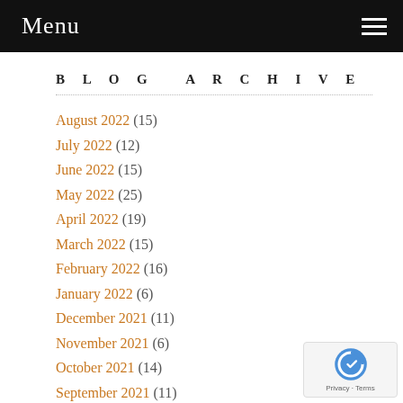Menu
BLOG ARCHIVE
August 2022 (15)
July 2022 (12)
June 2022 (15)
May 2022 (25)
April 2022 (19)
March 2022 (15)
February 2022 (16)
January 2022 (6)
December 2021 (11)
November 2021 (6)
October 2021 (14)
September 2021 (11)
August 2021 (5)
July 2021 (6)
June 2021 (3)
May 2021 (3)